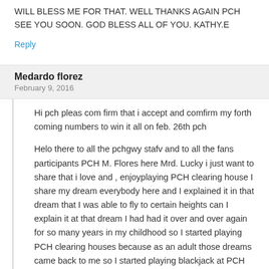WILL BLESS ME FOR THAT. WELL THANKS AGAIN PCH SEE YOU SOON. GOD BLESS ALL OF YOU. KATHY.E
Reply
Medardo florez
February 9, 2016
Hi pch pleas com firm that i accept and comfirm my forth coming numbers to win it all on feb. 26th pch
Helo there to all the pchgwy stafv and to all the fans participants PCH M. Flores here Mrd. Lucky i just want to share that i love and , enjoyplaying PCH clearing house I share my dream everybody here and I explained it in that dream that I was able to fly to certain heights can I explain it at that dream I had had it over and over again for so many years in my childhood so I started playing PCH clearing houses because as an adult those dreams came back to me so I started playing blackjack at PCH and started playing the PCH lotto and it happened I hit twice in the same year I brought it to its highest peak by hitting the six on my quick cards then I hit the jackpot rolling millions Mega millions hand picking them I hit it of 8 my quick card